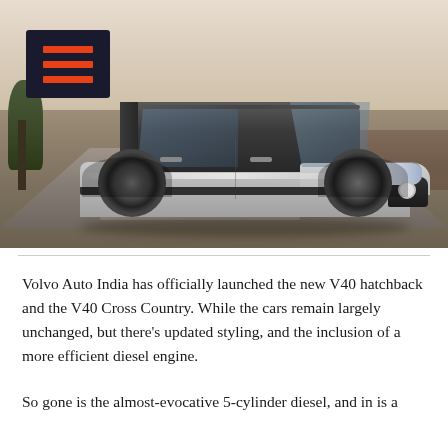[Figure (photo): Silver Volvo V40 Cross Country hatchback driving on a road in a natural landscape with trees and brush, overcast sky. A dark hamburger menu icon overlay appears in the top-left corner of the image.]
Volvo Auto India has officially launched the new V40 hatchback and the V40 Cross Country. While the cars remain largely unchanged, but there’s updated styling, and the inclusion of a more efficient diesel engine.
So gone is the almost-evocative 5-cylinder diesel, and in is a